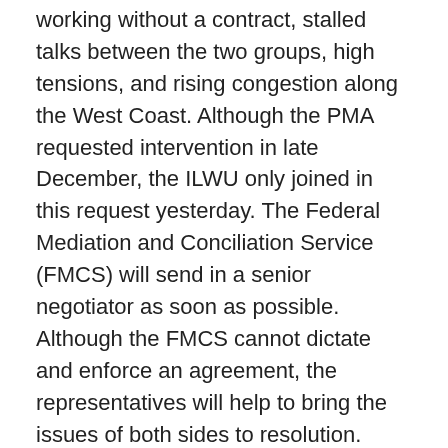working without a contract, stalled talks between the two groups, high tensions, and rising congestion along the West Coast. Although the PMA requested intervention in late December, the ILWU only joined in this request yesterday. The Federal Mediation and Conciliation Service (FMCS) will send in a senior negotiator as soon as possible. Although the FMCS cannot dictate and enforce an agreement, the representatives will help to bring the issues of both sides to resolution.
The PMA stated that rumors and statements made that they are “close to a deal” with the ILWU are false. The ILWU insists that PMA member carriers sitting on PMA’s Board of Directors need to come to the negotiating table so that constructive dialogue between key decision makers can take place. “Sure, my counterpart, Jim McKenna, has been involved in negotiations from the start, but all the decisions are made by the carriers sitting on PMA’s Board of Directors,” stated Robert McEllrath, ILWU President and Chairman of the Negotiating Committee.